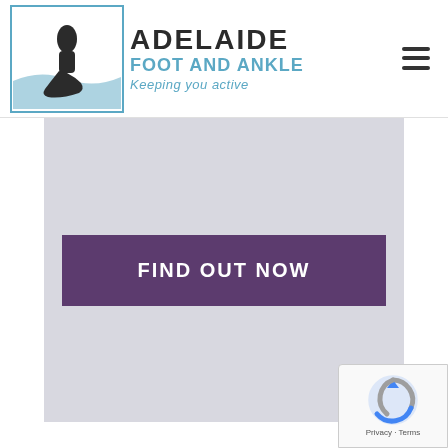[Figure (logo): Adelaide Foot and Ankle logo with foot/ankle silhouette illustration, blue wave motif, text 'ADELAIDE FOOT AND ANKLE' and tagline 'Keeping you active']
[Figure (other): Hamburger menu icon (three horizontal lines)]
FIND OUT NOW
[Figure (other): reCAPTCHA badge with Google reCAPTCHA logo and 'Privacy - Terms' text]